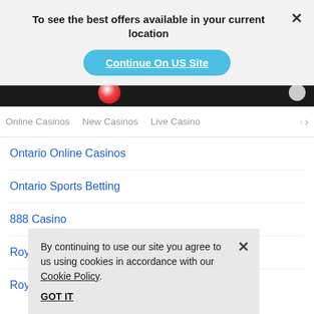To see the best offers available in your current location
Continue On US Site
[Figure (screenshot): Black navigation bar with red and white circular icon and grey circle on right]
Online Casinos   New Casinos   Live Casino   >
Ontario Online Casinos
Ontario Sports Betting
888 Casino
Royal Panda Casino
Royal Panda Casino Sportsbook
By continuing to use our site you agree to us using cookies in accordance with our Cookie Policy.
GOT IT